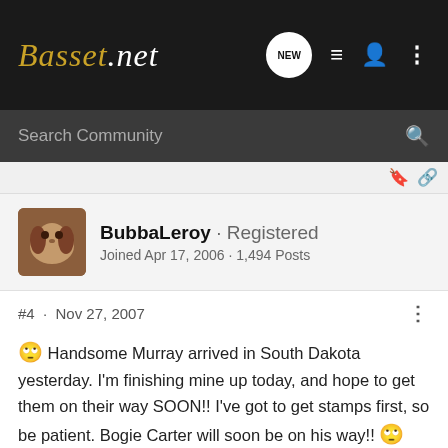Basset.net
Search Community
[Figure (photo): Basset Hound dog avatar photo for user BubbaLeroy]
BubbaLeroy · Registered
Joined Apr 17, 2006 · 1,494 Posts
#4 · Nov 27, 2007
🙄 Handsome Murray arrived in South Dakota yesterday. I'm finishing mine up today, and hope to get them on their way SOON!! I've got to get stamps first, so be patient. Bogie Carter will soon be on his way!! 🙄
You don't own a Basset, a Basset owns you!!
Aroooooos from Bogie !! - Trumbull's Who's Teasin Bogart CGC-